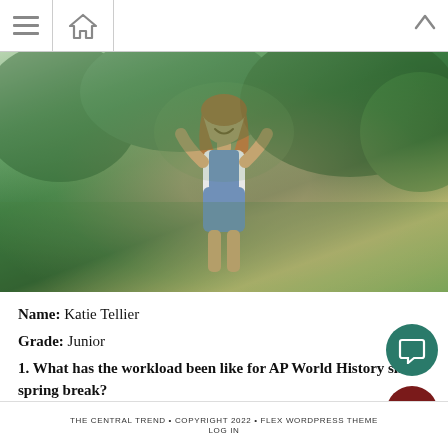[Figure (photo): A young woman with long reddish-brown hair, wearing denim overalls and a white shirt, standing outdoors with arms raised, surrounded by green trees and vegetation in the background. She is smiling.]
Name: Katie Tellier
Grade: Junior
1. What has the workload been like for AP World History since spring break?
The Central Trend • Copyright 2022 • Flex WordPress Theme • Log In